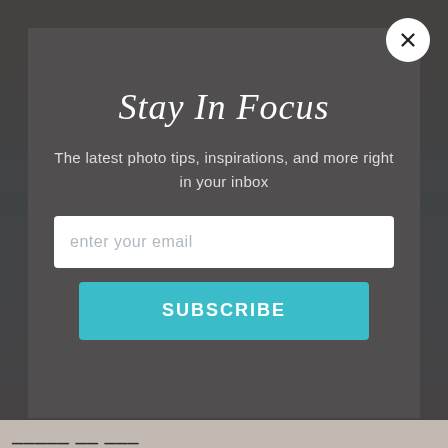[Figure (screenshot): Newsletter subscription modal overlay for 'Stay In Focus' photography newsletter, with email input and subscribe button on dark semi-transparent background]
Stay In Focus
The latest photo tips, inspirations, and more right in your inbox
enter your email
SUBSCRIBE